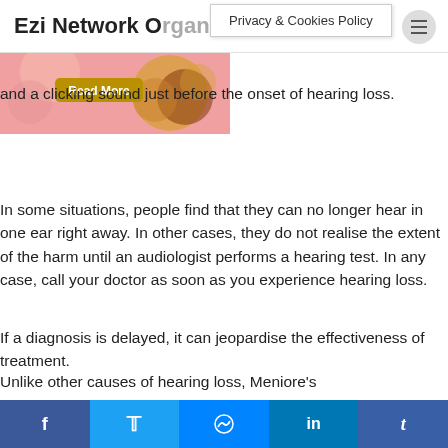Ezi Network Organisation
Privacy & Cookies Policy
[Figure (photo): Decorative image with pink and orange/brown circular design elements and a 'Read More' button overlay]
dizziness, tinnitus, and a clicking sound just before the onset of hearing loss.
In some situations, people find that they can no longer hear in one ear right away. In other cases, they do not realise the extent of the harm until an audiologist performs a hearing test. In any case, call your doctor as soon as you experience hearing loss.
If a diagnosis is delayed, it can jeopardise the effectiveness of treatment.
Unlike other causes of hearing loss, Meniore's
f  t  messenger  in  t